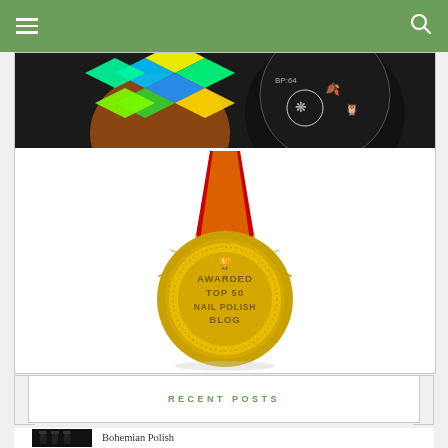Navigation bar with hamburger menu and search icon
[Figure (photo): Nail art stamping image at top, partially cropped, showing colorful diamond pattern nail art and a stamping plate with owl and leaf designs]
[Figure (photo): Gold medal award badge with red ribbon reading 'AWARDED TOP 50 NAIL POLISH BLOG' with a trophy icon]
RECENT POSTS
[Figure (photo): Small thumbnail image of nail polish bottles in dark/black color]
Bohemian Polish